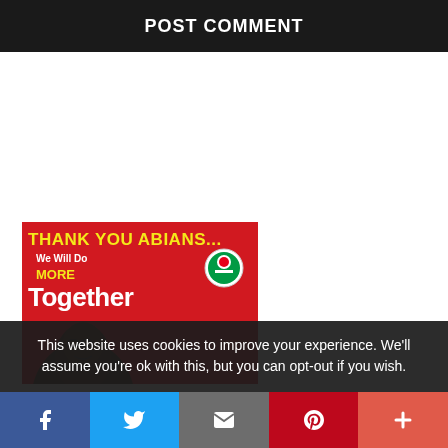POST COMMENT
[Figure (illustration): Red background political advertisement showing text 'THANK YOU ABIANS... We Will Do MORE Together' with a political party logo and a person's image]
This website uses cookies to improve your experience. We'll assume you're ok with this, but you can opt-out if you wish.
Social share bar with Facebook, Twitter, Email, Pinterest, and Plus buttons